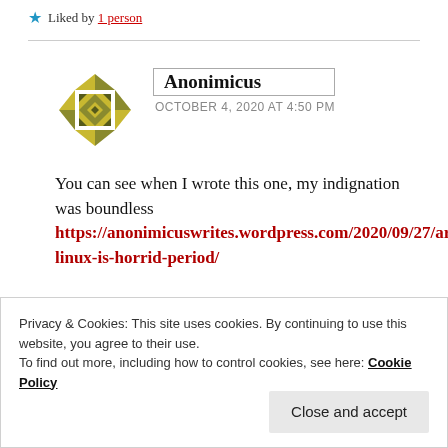★ Liked by 1 person
Anonimicus
OCTOBER 4, 2020 AT 4:50 PM
You can see when I wrote this one, my indignation was boundless https://anonimicuswrites.wordpress.com/2020/09/27/arch-linux-is-horrid-period/
Privacy & Cookies: This site uses cookies. By continuing to use this website, you agree to their use.
To find out more, including how to control cookies, see here: Cookie Policy
Close and accept